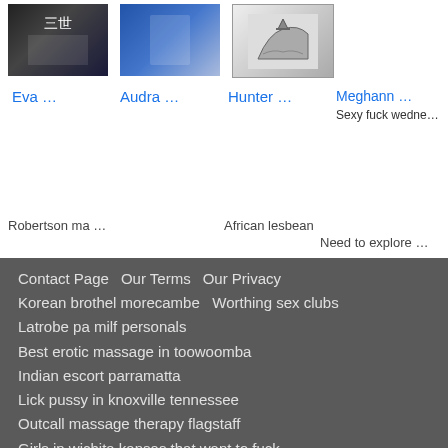[Figure (photo): Thumbnail photo 1 - people at event with Chinese characters]
[Figure (photo): Thumbnail photo 2 - person in polka dot outfit]
[Figure (photo): Thumbnail photo 3 - black and white ship illustration]
Eva ...
Audra ...
Hunter ...
Meghann ...
Sexy fuck wedne...
Robertson ma ...
African lesbean
Need to explore ...
Contact Page  Our Terms  Our Privacy
Korean brothel morecambe  Worthing sex clubs
Latrobe pa milf personals
Best erotic massage in toowoomba
Indian escort parramatta
Lick pussy in knoxville tennessee
Outcall massage therapy flagstaff
Girls in wichita kansas that want to fuck